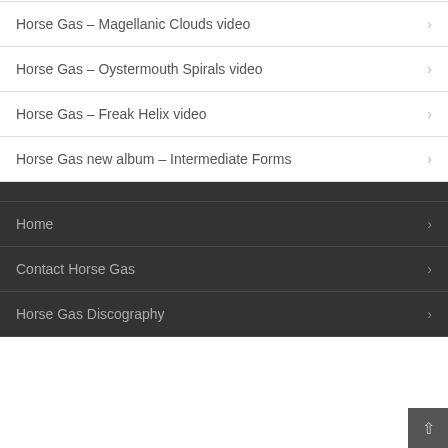Horse Gas – Magellanic Clouds video
Horse Gas – Oystermouth Spirals video
Horse Gas – Freak Helix video
Horse Gas new album – Intermediate Forms
Home
Contact Horse Gas
Horse Gas Discography